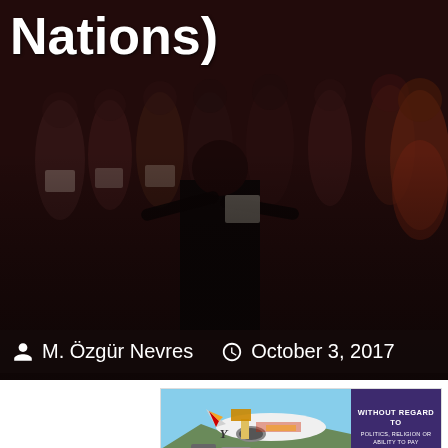[Figure (photo): Dark background image of a choir performing, with a conductor visible in the foreground and choir members in black robes behind]
Nations)
M. Özgür Nevres   October 3, 2017
[Figure (photo): Advertisement banner showing an airplane being loaded with cargo, with text 'WITHOUT REGARD TO POLITICS, RELIGION OR ABILITY TO PAY' on a purple background]